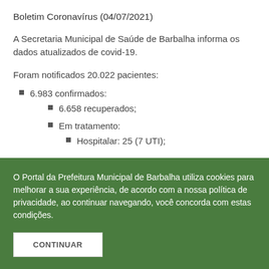Boletim Coronavírus (04/07/2021)
A Secretaria Municipal de Saúde de Barbalha informa os dados atualizados de covid-19.
Foram notificados 20.022 pacientes:
6.983 confirmados:
6.658 recuperados;
Em tratamento:
Hospitalar: 25 (7 UTI);
O Portal da Prefeitura Municipal de Barbalha utiliza cookies para melhorar a sua experiência, de acordo com a nossa política de privacidade, ao continuar navegando, você concorda com estas condições.
CONTINUAR